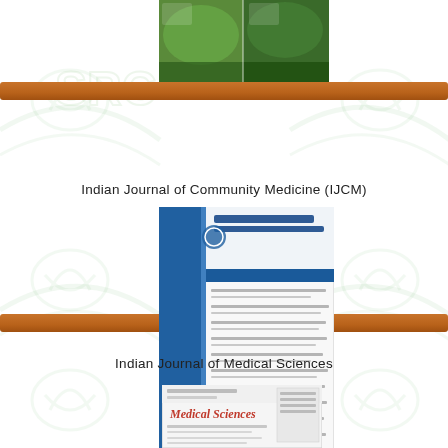[Figure (photo): Top journal cover image – appears to be a green/nature themed journal cover, partially cropped, with a brown shelf bar below it.]
Indian Journal of Community Medicine (IJCM)
[Figure (photo): Indian Journal of Community Medicine (IJCM) cover – white background with blue vertical stripe, journal title header in blue, table of contents listing articles.]
Indian Journal of Medical Sciences
[Figure (photo): Indian Journal of Medical Sciences cover – showing journal title in red decorative font 'Medical Sciences', with issue information table on right side.]